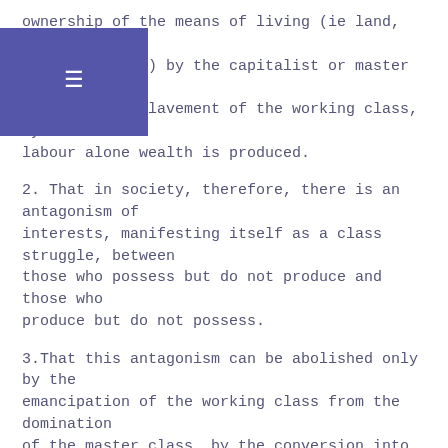ownership of the means of living (ie land, factories, railways, etc.) by the capitalist or master class, and the consequent enslavement of the working class, by whose labour alone wealth is produced.
2. That in society, therefore, there is an antagonism of interests, manifesting itself as a class struggle, between those who possess but do not produce and those who produce but do not possess.
3. That this antagonism can be abolished only by the emancipation of the working class from the domination of the master class, by the conversion into common property of society of the means of production and distribution, and their democratic control by the whole people.
4. That as in the order of social evolution the working class is the last class to achieve its freedom, the